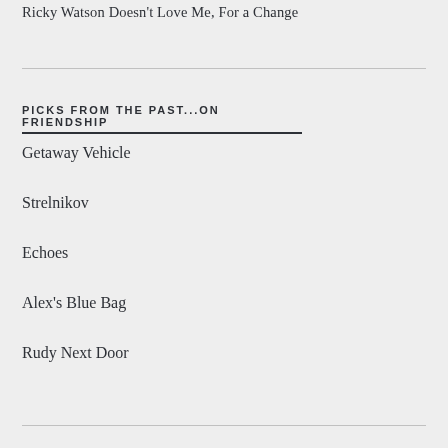Ricky Watson Doesn't Love Me, For a Change
PICKS FROM THE PAST...ON FRIENDSHIP
Getaway Vehicle
Strelnikov
Echoes
Alex's Blue Bag
Rudy Next Door